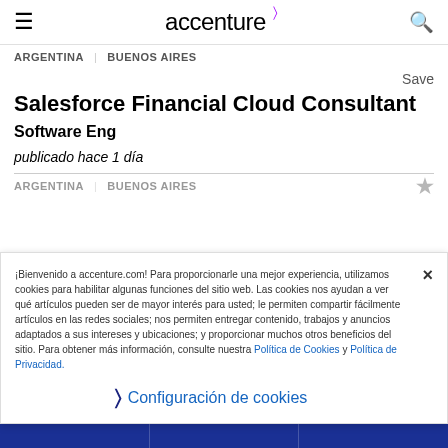accenture
ARGENTINA | BUENOS AIRES
Save
Salesforce Financial Cloud Consultant
Software Eng
publicado hace 1 día
ARGENTINA | BUENOS AIRES
¡Bienvenido a accenture.com! Para proporcionarle una mejor experiencia, utilizamos cookies para habilitar algunas funciones del sitio web. Las cookies nos ayudan a ver qué artículos pueden ser de mayor interés para usted; le permiten compartir fácilmente artículos en las redes sociales; nos permiten entregar contenido, trabajos y anuncios adaptados a sus intereses y ubicaciones; y proporcionar muchos otros beneficios del sitio. Para obtener más información, consulte nuestra Política de Cookies y Política de Privacidad.
Configuración de cookies
BUSCADOR DE EMPLEOS
LEE EL BLOG DE CARRERAS
ÚNETE A TALENT CONNECTION